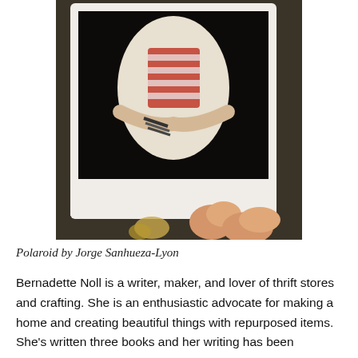[Figure (photo): A hand holds a Polaroid photograph showing a person in a white shirt holding something with a striped pattern, bracelets visible on their wrist. Background is dark. Below the Polaroid, fingers holding it are visible.]
Polaroid by Jorge Sanhueza-Lyon
Bernadette Noll is a writer, maker, and lover of thrift stores and crafting. She is an enthusiastic advocate for making a home and creating beautiful things with repurposed items. She's written three books and her writing has been